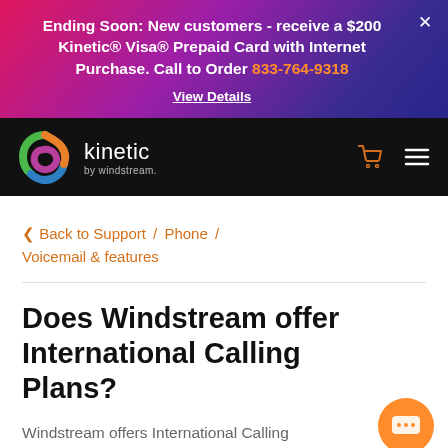Ending Soon: New customers - receive a $200 Kinetic® Visa® Prepaid Card with Internet Purchase. Call to Order 833-764-9318
View Details
kinetic by windstream.
‹ Back to Support / Phone / Voicemail & features
Does Windstream offer International Calling Plans?
Windstream offers International Calling